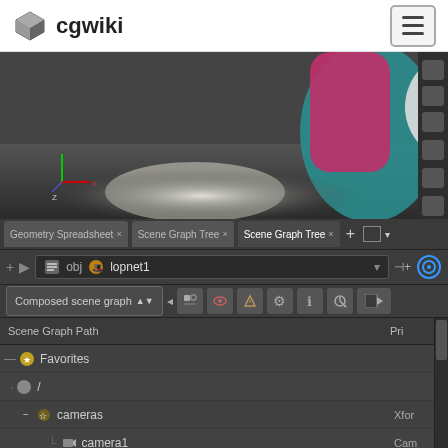cgwiki
[Figure (screenshot): 3D render viewport showing colorful 3D objects (teal, magenta, white sphere) on a grey surface with a bright light]
Geometry Spreadsheet   Scene Graph Tree   Scene Graph Tree
obj   lopnet1
Composed scene graph
| Scene Graph Path | Pri |
| --- | --- |
| Favorites |  |
| / |  |
| cameras | Xfor |
| camera1 | Cam |
| floor | Xfor |
| fog | Xfor |
| lights | Xfor |
| materials | Scop |
| ground_mat | Mate |